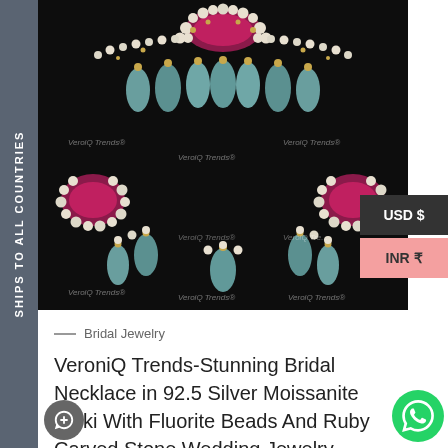[Figure (photo): Close-up photo of Indian bridal jewelry necklace on black background. Features pink/ruby colored gemstone clusters surrounded by pearls and gold, with light blue-green fluorite beads hanging as drops. Watermarked with 'VeroiQ Trends' text overlaid multiple times.]
USD $
INR ₹
SHIPS TO ALL COUNTRIES
Bridal Jewelry
VeroniQ Trends-Stunning Bridal Necklace in 92.5 Silver Moissanite Polki With Fluorite Beads And Ruby Carved Stone Wedding Jewelry Cocktail Part...